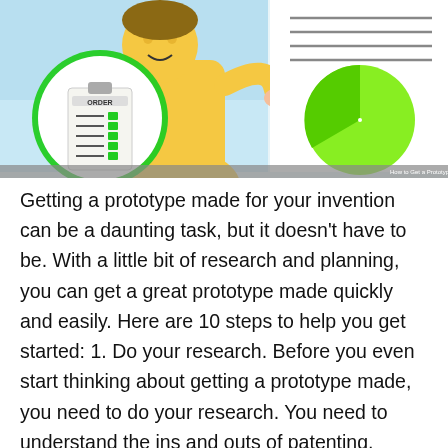[Figure (illustration): Cartoon illustration split into two panels. Left panel: animated person in yellow shirt presenting/gesturing toward a clipboard with a checklist labeled 'ORDER' inside a green circle. Right panel: document with lines and a large bright green pie chart showing most of the circle filled with one segment and a small slice.]
Getting a prototype made for your invention can be a daunting task, but it doesn't have to be. With a little bit of research and planning, you can get a great prototype made quickly and easily. Here are 10 steps to help you get started: 1. Do your research. Before you even start thinking about getting a prototype made, you need to do your research. You need to understand the ins and outs of patenting, marketing, and manufacturing. This will help